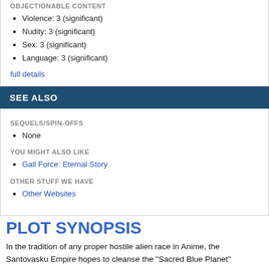OBJECTIONABLE CONTENT
Violence: 3 (significant)
Nudity: 3 (significant)
Sex: 3 (significant)
Language: 3 (significant)
full details
SEE ALSO
SEQUELS/SPIN-OFFS
None
YOU MIGHT ALSO LIKE
Gall Force: Eternal Story
OTHER STUFF WE HAVE
Other Websites
PLOT SYNOPSIS
In the tradition of any proper hostile alien race in Anime, the Santovasku Empire hopes to cleanse the "Sacred Blue Planet" (namely, Earth) by eradicating the lowly human race. Unfortunately for you misanthropes out there, Princess Kahm of the Santovasku falls in love with a bumbling photojournalist named Tetsuya during a spearhead assault on Earth, and seems willing to save humanity for the sake of her newfound boy-toy.